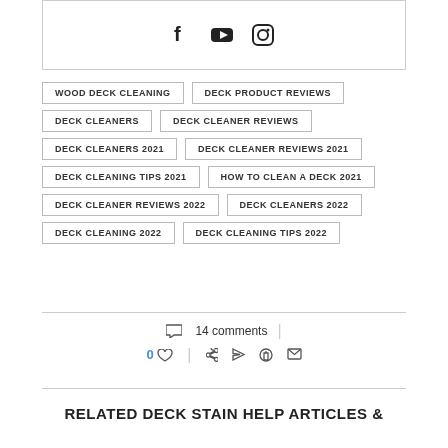[Figure (other): Social media icons: Facebook, YouTube, Instagram inside a bordered box]
WOOD DECK CLEANING
DECK PRODUCT REVIEWS
DECK CLEANERS
DECK CLEANER REVIEWS
DECK CLEANERS 2021
DECK CLEANER REVIEWS 2021
DECK CLEANING TIPS 2021
HOW TO CLEAN A DECK 2021
DECK CLEANER REVIEWS 2022
DECK CLEANERS 2022
DECK CLEANING 2022
DECK CLEANING TIPS 2022
14 comments
0 likes, share icons: Facebook, Twitter, Pinterest, Email
RELATED DECK STAIN HELP ARTICLES &